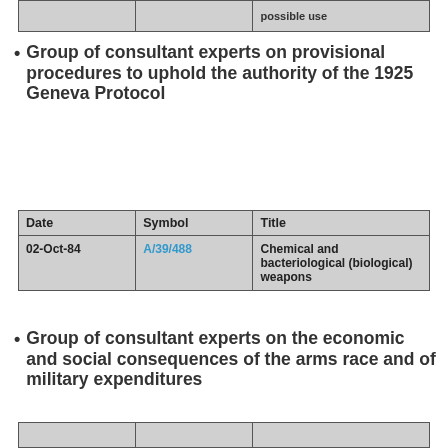|  |  | possible use |
| --- | --- | --- |
|  |  |  |
Group of consultant experts on provisional procedures to uphold the authority of the 1925 Geneva Protocol
| Date | Symbol | Title |
| --- | --- | --- |
| 02-Oct-84 | A/39/488 | Chemical and bacteriological (biological) weapons |
Group of consultant experts on the economic and social consequences of the arms race and of military expenditures
|  |  |  |
| --- | --- | --- |
|  |  |  |